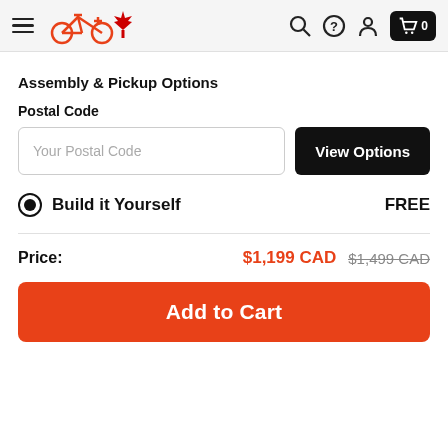Canadian Tire bicycle store header with menu, logo (bicycle + maple leaf), search, help, account, and cart icons
Assembly & Pickup Options
Postal Code
Your Postal Code
View Options
Build it Yourself	FREE
Price: $1,199 CAD  $1,499 CAD
Add to Cart